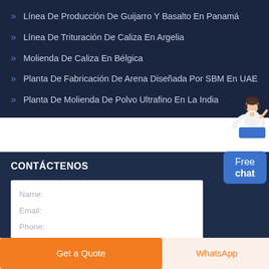Línea De Producción De Guijarro Y Basalto En Panamá
Línea De Trituración De Caliza En Argelia
Molienda De Caliza En Bélgica
Planta De Fabricación De Arena Diseñada Por SBM En UAE
Planta De Molienda De Polvo Ultrafino En La India
[Figure (illustration): Customer service avatar with headset standing at a podium, with a blue 'Free chat' button below]
CONTÁCTENOS
Name:
Email:
Phone:
Message:
Get a Quote
WhatsApp